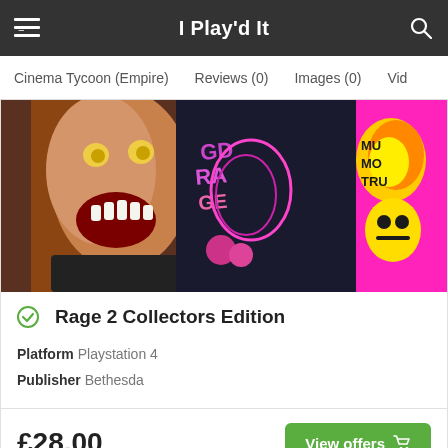I Play'd It
Cinema Tycoon (Empire)   Reviews (0)   Images (0)   Vid
[Figure (photo): Product image showing Rage 2 Collectors Edition contents including a monster head figurine, colorful game art cards with psychedelic graphics, and neon pink and yellow artwork.]
Rage 2 Collectors Edition
Platform Playstation 4
Publisher Bethesda
£28.00
View offers